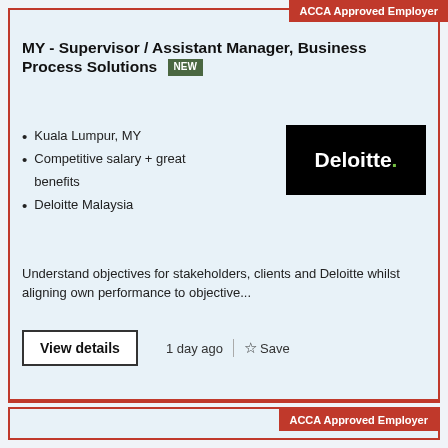ACCA Approved Employer
MY - Supervisor / Assistant Manager, Business Process Solutions
Kuala Lumpur, MY
Competitive salary + great benefits
Deloitte Malaysia
[Figure (logo): Deloitte logo — white bold text on black background with green dot]
Understand objectives for stakeholders, clients and Deloitte whilst aligning own performance to objective...
View details
1 day ago  |  ☆ Save
ACCA Approved Employer
Finance Manager | Al Futtaim Retail | Dubai, UAE
Dubai, AE